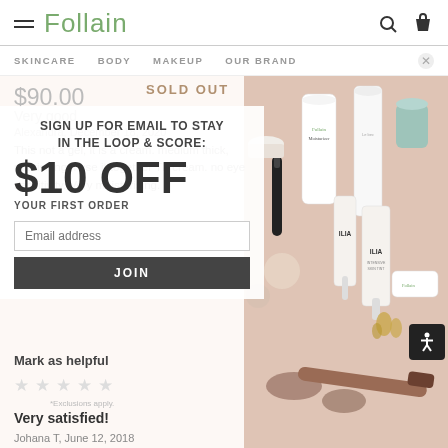Follain
SKINCARE   BODY   MAKEUP   OUR BRAND
$90.00
SOLD OUT
SIGN UP FOR EMAIL TO STAY IN THE LOOP & SCORE:
$10 OFF
YOUR FIRST ORDER
Email address
JOIN
*Exclusions apply.
Very good
Alexandra, December 18, 2020
This not a gel, it is a cream. medium thick, nourishing. i use it together TF cream. no eye sensitivity. Very moisturising.
Mark as helpful
[Figure (photo): Flatlay of beauty/skincare products including Follain Moisturizer, ILIA products, mascara tubes, cream compacts on a pink/salmon background]
Very satisfied!
Johana T, June 12, 2018